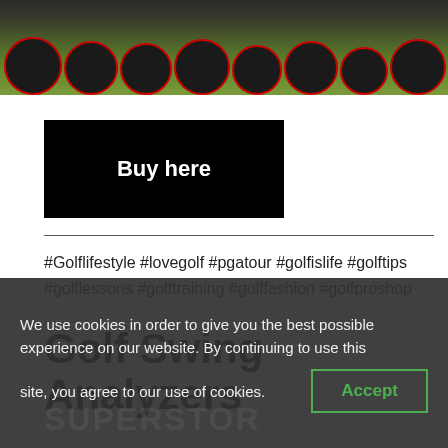[Figure (photo): Top strip showing golf equipment (black gear/wheels with red accents) on green grass background]
Buy here
#Golflifestyle #lovegolf #pgatour #golfislife #golftips #golflessons #golftraining #golffashion #golfproshop
Golf Swing Analyzers
We use cookies in order to give you the best possible experience on our website. By continuing to use this site, you agree to our use of cookies.
Accept